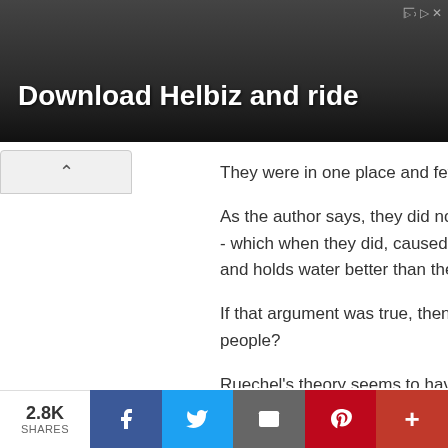[Figure (screenshot): Advertisement banner with dark background showing 'Download Helbiz and ride' text with a person in background]
They were in one place and few moved f
As the author says, they did not move ab - which when they did, caused the Flu to and holds water better than the "not bo
If that argument was true, then why wa people?
Ruechel's theory seems to have more leg
Reply